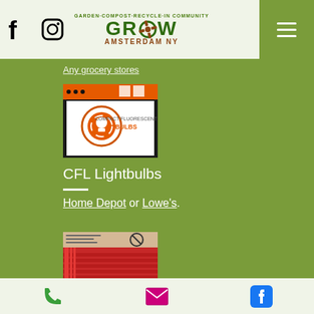GROW AMSTERDAM NY - Navigation header with Facebook, Instagram icons and hamburger menu
Any grocery stores
[Figure (photo): CFL lightbulb recycling drop box with orange top bar and white label showing green circular recycling logo with 'Compact Fluorescent Bulbs' text]
CFL Lightbulbs
Home Depot or Lowe's.
[Figure (photo): Red sharps or hazardous waste container with beige/tan top section showing warning text and a no-symbol]
Phone, Email, and Facebook icons in footer